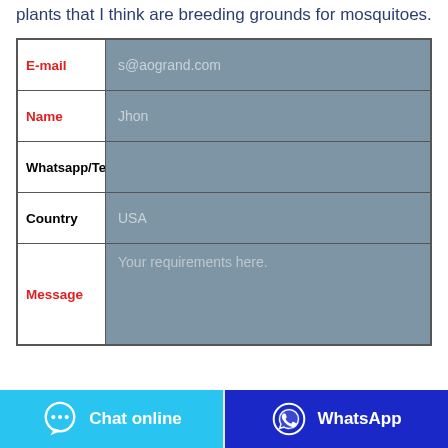plants that I think are breeding grounds for mosquitoes.
| Field | Value |
| --- | --- |
| E-mail | s@aogrand.com |
| Name | Jhon |
| Whatsapp/Te |  |
| Country | USA |
| Message | Your requirements here. |
Chat online
WhatsApp